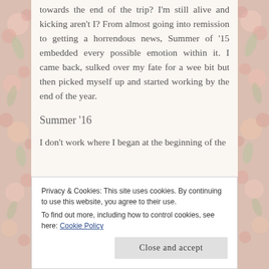towards the end of the trip? I'm still alive and kicking aren't I? From almost going into remission to getting a horrendous news, Summer of '15 embedded every possible emotion within it. I came back, sulked over my fate for a wee bit but then picked myself up and started working by the end of the year.
Summer '16
I don't work where I began at the beginning of the
Privacy & Cookies: This site uses cookies. By continuing to use this website, you agree to their use.
To find out more, including how to control cookies, see here: Cookie Policy